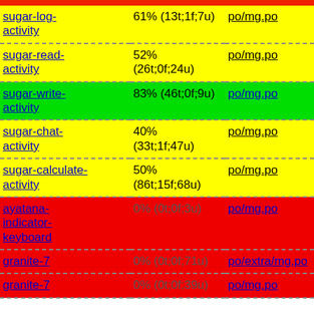| sugar-log-activity | 61% (13t;1f;7u) | po/mg.po |
| sugar-read-activity | 52% (26t;0f;24u) | po/mg.po |
| sugar-write-activity | 83% (46t;0f;9u) | po/mg.po |
| sugar-chat-activity | 40% (33t;1f;47u) | po/mg.po |
| sugar-calculate-activity | 50% (86t;15f;68u) | po/mg.po |
| ayatana-indicator-keyboard | 0% (0t;0f;3u) | po/mg.po |
| granite-7 | 0% (0t;0f;71u) | po/extra/mg.po |
| granite-7 | 0% (0t;0f;39u) | po/mg.po |